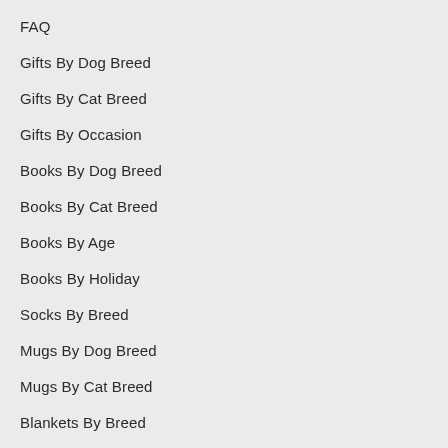FAQ
Gifts By Dog Breed
Gifts By Cat Breed
Gifts By Occasion
Books By Dog Breed
Books By Cat Breed
Books By Age
Books By Holiday
Socks By Breed
Mugs By Dog Breed
Mugs By Cat Breed
Blankets By Breed